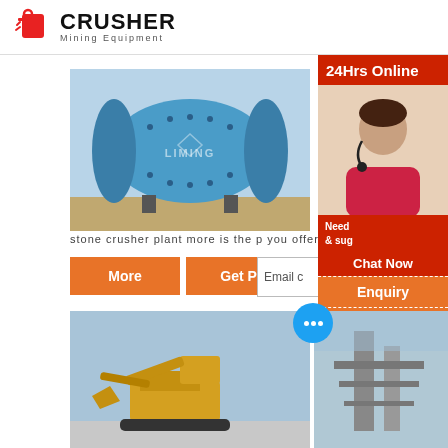[Figure (logo): Crusher Mining Equipment logo with red bag icon and bold black CRUSHER text]
[Figure (photo): Blue ball mill / grinding machine on outdoor ground]
[Figure (photo): Industrial dust collector / filter equipment outdoors]
stone crusher plant more is the p you offerview
More
Get Price
Email c
[Figure (infographic): 24Hrs Online sidebar with customer service representative photo, Need & suggestions text, Chat Now button, Enquiry section, superbrian707@gmail.com contact]
[Figure (photo): Yellow excavator / construction equipment on outdoor ground]
[Figure (photo): Industrial plant / steel structure equipment]